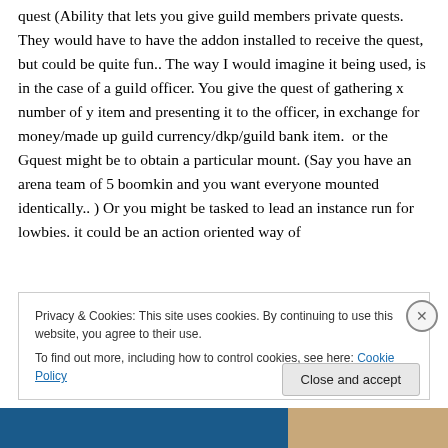quest (Ability that lets you give guild members private quests.  They would have to have the addon installed to receive the quest, but could be quite fun.. The way I would imagine it being used, is in the case of a guild officer. You give the quest of gathering x number of y item and presenting it to the officer, in exchange for money/made up guild currency/dkp/guild bank item.  or the Gquest might be to obtain a particular mount. (Say you have an arena team of 5 boomkin and you want everyone mounted identically.. ) Or you might be tasked to lead an instance run for lowbies. it could be an action oriented way of
Privacy & Cookies: This site uses cookies. By continuing to use this website, you agree to their use.
To find out more, including how to control cookies, see here: Cookie Policy